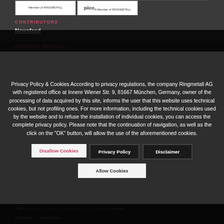[Figure (logo): Two logo boxes - Member of RINGMETALL and PIICO A Member of RINGMETALL]
CONTRIBUTORS
Newsfeed
CONTACT DETAILS
Privacy Policy & Cookies According to privacy regulations, the company Ringmetall AG with registered office at Innere Wiener Str. 9, 81667 München, Germany, owner of the processing of data acquired by this site, informs the user that this website uses technical cookies, but not profiling ones. For more information, including the technical cookies used by the website and to refuse the installation of individual cookies, you can access the complete privacy policy. Please note that the continuation of navigation, as well as the click on the "OK" button, will allow the use of the aforementioned cookies.
Disallow Cookies
Privacy Policy
Disclaimer
Allow Cookies
© Ringmetall AG - a leading global specialist in the packaging industry.
Disclaimer   Privacy Policy